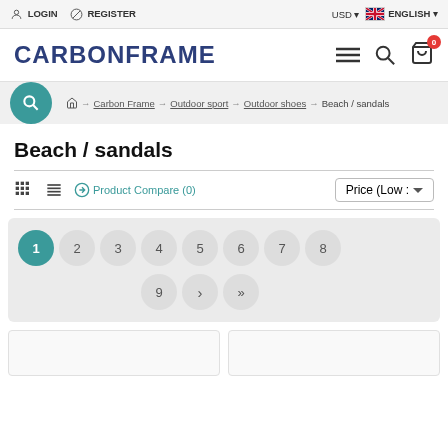LOGIN  REGISTER  |  USD  ENGLISH
CARBONFRAME
Carbon Frame → Outdoor sport → Outdoor shoes → Beach / sandals
Beach / sandals
Product Compare (0)  Price (Low :
[Figure (screenshot): Pagination widget showing page buttons 1 through 9 plus next and last arrows, with page 1 highlighted in teal]
[Figure (screenshot): Two partially visible product card placeholders at the bottom of the page]